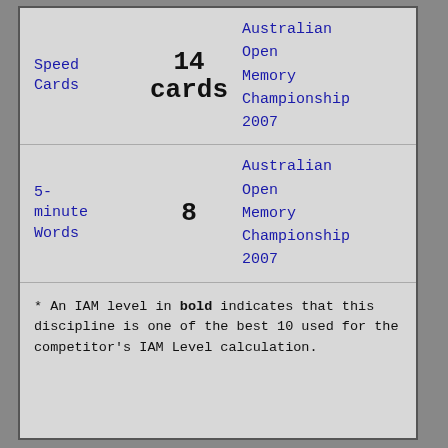| Event | Score | Competition |
| --- | --- | --- |
| Speed Cards | 14 cards | Australian Open Memory Championship 2007 |
| 5-minute Words | 8 | Australian Open Memory Championship 2007 |
* An IAM level in bold indicates that this discipline is one of the best 10 used for the competitor's IAM Level calculation.